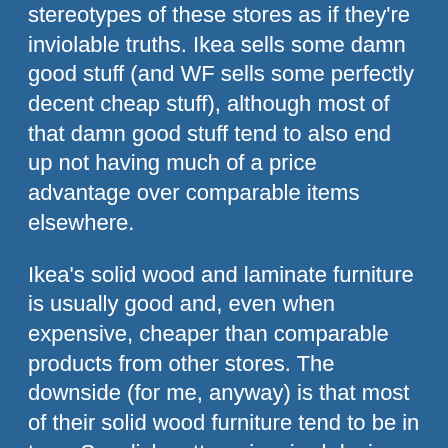stereotypes of these stores as if they're inviolable truths. Ikea sells some damn good stuff (and WF sells some perfectly decent cheap stuff), although most of that damn good stuff tend to also end up not having much of a price advantage over comparable items elsewhere.
Ikea's solid wood and laminate furniture is usually good and, even when expensive, cheaper than comparable products from other stores. The downside (for me, anyway) is that most of their solid wood furniture tend to be in twee Swedish cottage-inspired designs, which isn't my thing. But we have a couple Poang armchairs in the house as well as a solid wood kitchen table which is a whole lot sturdier (and looks nicer) than what I could've gotten at my local perpetual-clearance-sale furniture stores. That table was hell to build, but then again I only had to do it once, and it was still easier than building furniture from raw lumber; I've done that too.